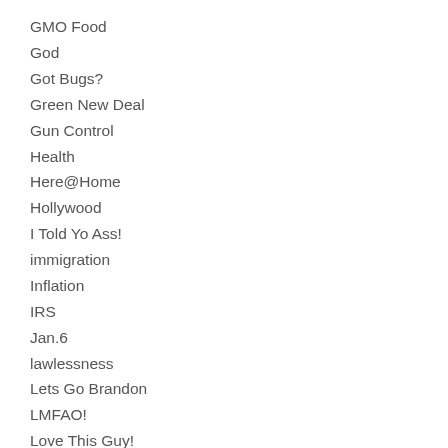GMO Food
God
Got Bugs?
Green New Deal
Gun Control
Health
Here@Home
Hollywood
I Told Yo Ass!
immigration
Inflation
IRS
Jan.6
lawlessness
Lets Go Brandon
LMFAO!
Love This Guy!
Mad Man